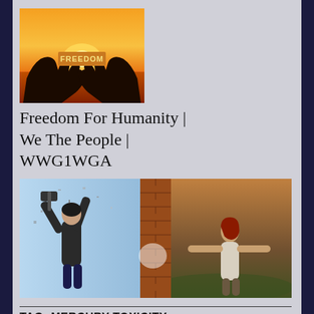[Figure (photo): Silhouette of two hands holding up letters spelling FREEDOM against a warm orange sunset sky over water.]
Freedom For Humanity | We The People | WWG1WGA
[Figure (photo): Composite image: left side shows a woman in a blazer swinging a sledgehammer at a brick wall causing debris; right side shows a red-haired woman outdoors with arms spread wide, head tilted back in freedom.]
TAG: MERCURY TOXICITY